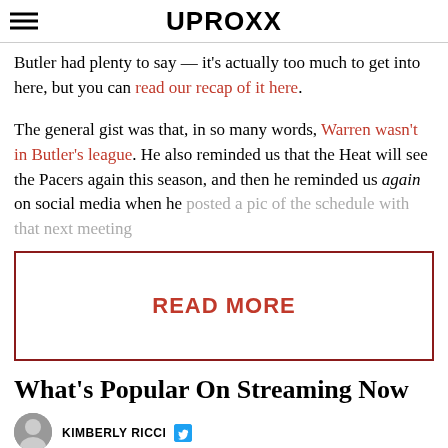UPROXX
Butler had plenty to say — it's actually too much to get into here, but you can read our recap of it here.
The general gist was that, in so many words, Warren wasn't in Butler's league. He also reminded us that the Heat will see the Pacers again this season, and then he reminded us again on social media when he posted a pic of the schedule with that next meeting
[Figure (other): READ MORE button box with dark red border]
What's Popular On Streaming Now
KIMBERLY RICCI